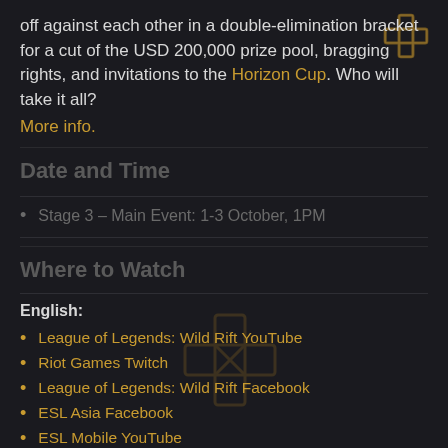off against each other in a double-elimination bracket for a cut of the USD 200,000 prize pool, bragging rights, and invitations to the Horizon Cup. Who will take it all? More info.
Date and Time
Stage 3 – Main Event: 1-3 October, 1PM
Where to Watch
English:
League of Legends: Wild Rift YouTube
Riot Games Twitch
League of Legends: Wild Rift Facebook
ESL Asia Facebook
ESL Mobile YouTube